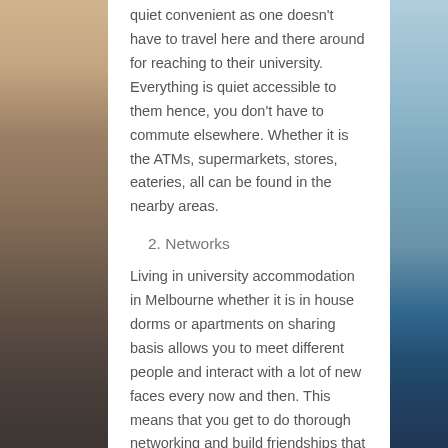quiet convenient as one doesn't have to travel here and there around for reaching to their university. Everything is quiet accessible to them hence, you don't have to commute elsewhere. Whether it is the ATMs, supermarkets, stores, eateries, all can be found in the nearby areas.
2. Networks
Living in university accommodation in Melbourne whether it is in house dorms or apartments on sharing basis allows you to meet different people and interact with a lot of new faces every now and then. This means that you get to do thorough networking and build friendships that may last for the longest period of time. In fact, if you are new and hesitant, you shouldn't be worried about anything as living with students allow you to interact in a different way.
3. Support